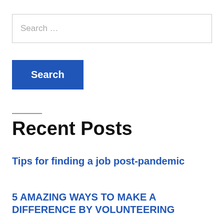Search …
Search
Recent Posts
Tips for finding a job post-pandemic
5 AMAZING WAYS TO MAKE A DIFFERENCE BY VOLUNTEERING